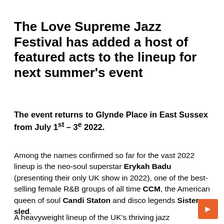The Love Supreme Jazz Festival has added a host of featured acts to the lineup for next summer's event
The event returns to Glynde Place in East Sussex from July 1st – 3e 2022.
Among the names confirmed so far for the vast 2022 lineup is the neo-soul superstar Erykah Badu (presenting their only UK show in 2022), one of the best-selling female R&B groups of all time CCM, the American queen of soul Candi Staton and disco legends Sister sled.
A heavyweight lineup of the UK's thriving jazz...